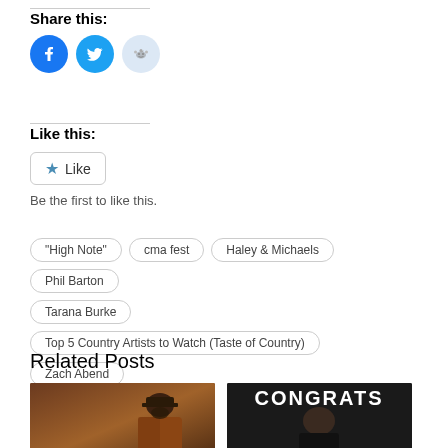Share this:
[Figure (infographic): Three social share icon buttons: Facebook (blue circle with F), Twitter (blue circle with bird), Reddit (light blue circle with alien mascot)]
Like this:
[Figure (infographic): WordPress Like button widget with a star icon and the word Like, followed by text 'Be the first to like this.']
Be the first to like this.
"High Note"
cma fest
Haley & Michaels
Phil Barton
Tarana Burke
Top 5 Country Artists to Watch (Taste of Country)
Zach Abend
Related Posts
[Figure (photo): Photo of a man with a beard wearing a cap and flannel jacket, playing guitar indoors]
[Figure (photo): Image with text CONGRATS and TYLER BRADEN on a dark background with a person in a black shirt]